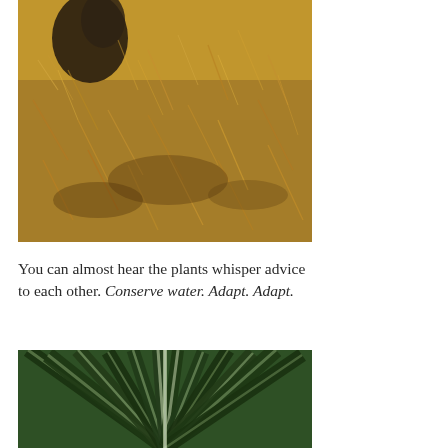[Figure (photo): Close-up photograph of dry golden-brown grass and desert scrub vegetation with a dark yucca plant visible in the upper portion of the image.]
You can almost hear the plants whisper advice to each other. Conserve water. Adapt. Adapt.
[Figure (photo): Close-up photograph of a yucca or agave plant showing long sharp green leaves radiating outward with light reflecting off the leaf surfaces.]